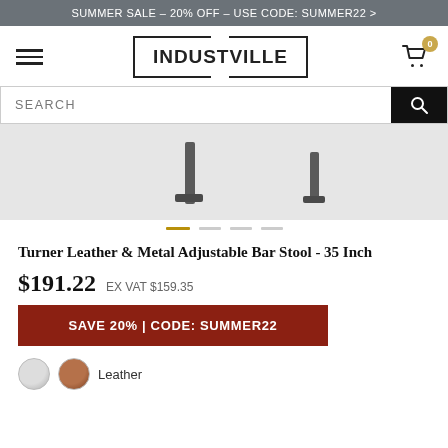SUMMER SALE – 20% OFF – USE CODE: SUMMER22 >
[Figure (logo): Industville logo with rectangular border and hamburger menu icon and cart icon with badge showing 0]
[Figure (screenshot): Search bar with SEARCH placeholder text and black search button]
[Figure (photo): Partial product image of Turner Leather & Metal Adjustable Bar Stool legs on light grey background, with slider indicator dots below]
Turner Leather & Metal Adjustable Bar Stool - 35 Inch
$191.22  EX VAT $159.35
SAVE 20% | CODE: SUMMER22
Leather